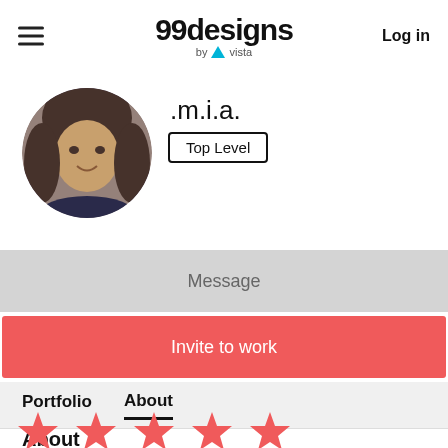99designs by vista | Log in
[Figure (photo): Circular profile photo of a young woman with dark hair, with a slight colorful tint]
.m.i.a.
Top Level
Message
Invite to work
Portfolio   About
About
[Figure (illustration): Five red/coral star rating icons in a row]